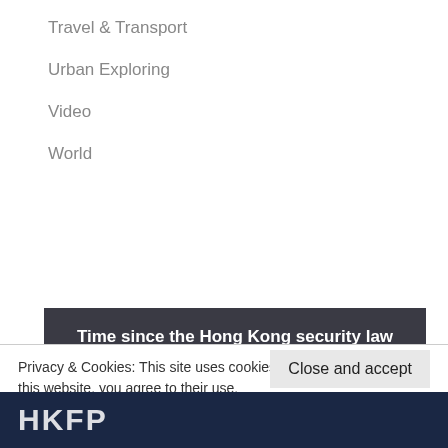Travel & Transport
Urban Exploring
Video
World
Time since the Hong Kong security law was enacted
23:00, 30 June 2020
2.1
Privacy & Cookies: This site uses cookies. By continuing to use this website, you agree to their use.
To find out more, including how to control cookies, see here: Cookie Policy
Close and accept
HKFP